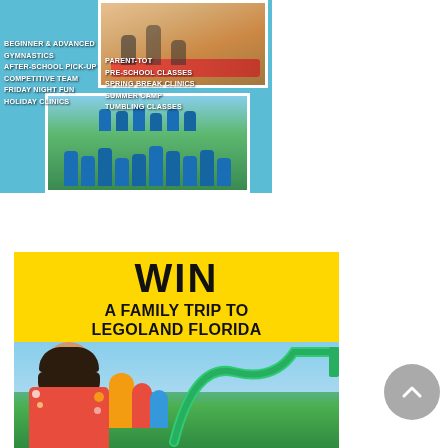[Figure (photo): Gymnastics school advertisement with text overlay: Beginner & Advanced Gymnastics, After-School Pick-Up, Competitive Team, Friday Night Fun, Holiday Clinics on left; Parent-Tot, Pre-School Classes, Spring Break Clinics, Summer Camp, Tumbling Classes on right. Top photo shows kids on trampoline/gymnastics. Bottom photo shows group of children and coaches in blue shirts outdoors.]
[Figure (infographic): WIN A FAMILY TRIP TO LEGOLAND FLORIDA advertisement. Yellow header with bold black text 'WIN' and subtitle 'A FAMILY TRIP TO LEGOLAND FLORIDA'. Below is a photo of a man in a red floral shirt with family on a roller coaster at LEGOLAND Florida.]